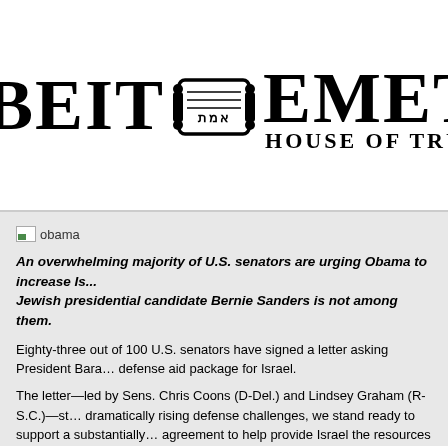[Figure (logo): Beit Emet House of Truth logo with Torah scroll symbol and Hebrew text]
[Figure (photo): Broken/missing image placeholder labeled 'obama']
An overwhelming majority of U.S. senators are urging Obama to increase Israel's defense aid. The Jewish presidential candidate Bernie Sanders is not among them.
Eighty-three out of 100 U.S. senators have signed a letter asking President Barack Obama to increase a defense aid package for Israel.
The letter—led by Sens. Chris Coons (D-Del.) and Lindsey Graham (R-S.C.)—states: "In light of dramatically rising defense challenges, we stand ready to support a substantially enhanced new defense agreement to help provide Israel the resources it requires to defend itself and preserve its qualitative edge," Reuters reported.
Israel currently receives $3.1 billion a year in defense aid from the U.S. While the U.S. hasn't set a figure for a new deal, Israel has asked the U.S. for between $4 and $4.5 billion as part of a new package. Obama administration officials, meanwhile, have proposed a lower targ